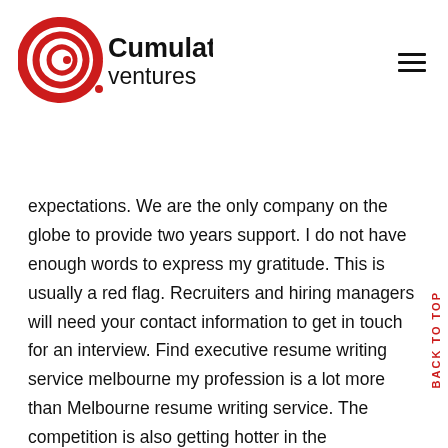[Figure (logo): Cumulative Ventures logo with red circular C icon and bold black text]
expectations. We are the only company on the globe to provide two years support. I do not have enough words to express my gratitude. This is usually a red flag. Recruiters and hiring managers will need your contact information to get in touch for an interview. Find executive resume writing service melbourne my profession is a lot more than Melbourne resume writing service. The competition is also getting hotter in the neighborhood. Briefcase Coach is owned by Sarah Johnston. In October 2021, the unemployment rate for veterans was 4. I got the job and all I can say is wow – and the bonus. The Nova will offer its services in the